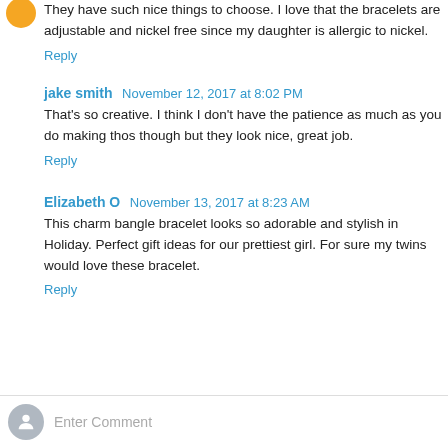They have such nice things to choose. I love that the bracelets are adjustable and nickel free since my daughter is allergic to nickel.
Reply
jake smith  November 12, 2017 at 8:02 PM
That's so creative. I think I don't have the patience as much as you do making thos though but they look nice, great job.
Reply
Elizabeth O  November 13, 2017 at 8:23 AM
This charm bangle bracelet looks so adorable and stylish in Holiday. Perfect gift ideas for our prettiest girl. For sure my twins would love these bracelet.
Reply
Enter Comment